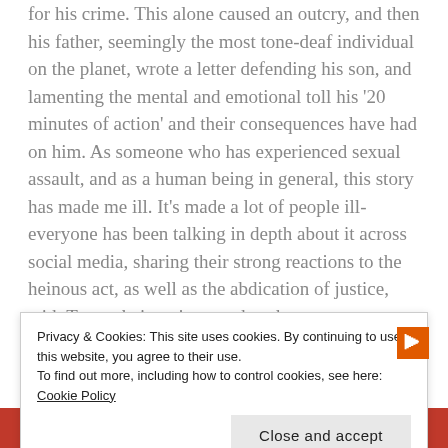for his crime. This alone caused an outcry, and then his father, seemingly the most tone-deaf individual on the planet, wrote a letter defending his son, and lamenting the mental and emotional toll his '20 minutes of action' and their consequences have had on him. As someone who has experienced sexual assault, and as a human being in general, this story has made me ill. It's made a lot of people ill-everyone has been talking in depth about it across social media, sharing their strong reactions to the heinous act, as well as the abdication of justice, with Turner being given such a short sentence. Good, I
Privacy & Cookies: This site uses cookies. By continuing to use this website, you agree to their use. To find out more, including how to control cookies, see here: Cookie Policy
Close and accept